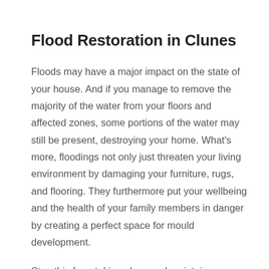Flood Restoration in Clunes
Floods may have a major impact on the state of your house. And if you manage to remove the majority of the water from your floors and affected zones, some portions of the water may still be present, destroying your home. What’s more, floodings not only just threaten your living environment by damaging your furniture, rugs, and flooring. They furthermore put your wellbeing and the health of your family members in danger by creating a perfect space for mould development.
Stop this from taking place and maintain your home safe with Nifty’s professional flood restoration services. We use new-age and